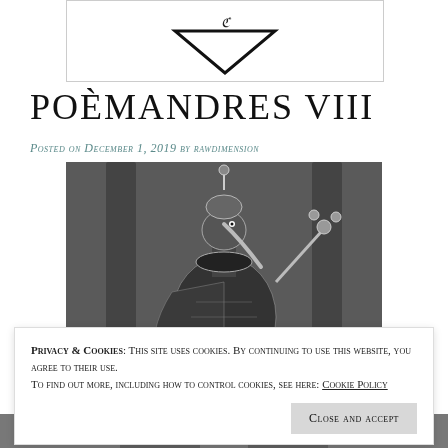[Figure (illustration): Partial logo/emblem image at top, diamond/chevron shape with decorative scripting, cropped at bottom]
Poèmandres VIII
Posted on December 1, 2019 by rawdimension
[Figure (illustration): Black and white detailed illustration of a bird-headed figure (ibis or thoth-like deity) wearing ornate robes, holding a flowering staff, with columns in the background]
Privacy & Cookies: This site uses cookies. By continuing to use this website, you agree to their use. To find out more, including how to control cookies, see here: Cookie Policy
Close and accept